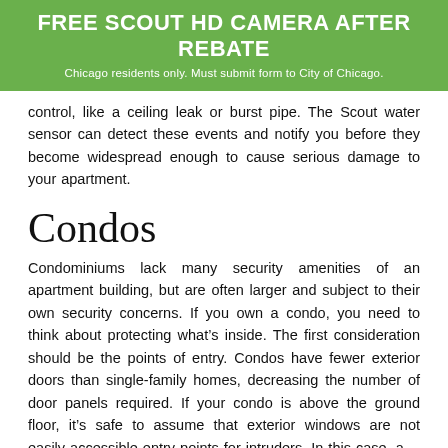FREE SCOUT HD CAMERA AFTER REBATE
Chicago residents only. Must submit form to City of Chicago.
control, like a ceiling leak or burst pipe. The Scout water sensor can detect these events and notify you before they become widespread enough to cause serious damage to your apartment.
Condos
Condominiums lack many security amenities of an apartment building, but are often larger and subject to their own security concerns. If you own a condo, you need to think about protecting what’s inside. The first consideration should be the points of entry. Condos have fewer exterior doors than single-family homes, decreasing the number of door panels required. If your condo is above the ground floor, it’s safe to assume that exterior windows are not easily accessible entry points for intruders. In this case, a